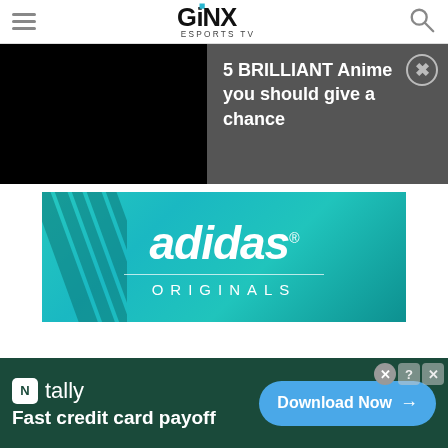GINX ESPORTS TV
[Figure (screenshot): Notification overlay showing dark video placeholder on left and text '5 BRILLIANT Anime you should give a chance' on dark grey background with close button]
[Figure (logo): Adidas Originals advertisement banner with teal/cyan gradient background, adidas logo text and ORIGINALS lettering]
[Figure (screenshot): Bottom banner advertisement for Tally app - 'Fast credit card payoff' with Download Now button on dark green background]